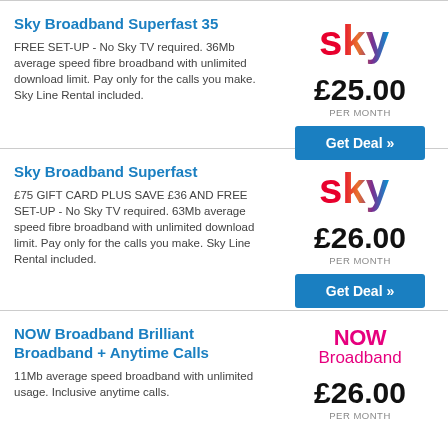Sky Broadband Superfast 35
FREE SET-UP - No Sky TV required. 36Mb average speed fibre broadband with unlimited download limit. Pay only for the calls you make. Sky Line Rental included.
[Figure (logo): Sky logo - gradient coloured letters spelling 'sky']
£25.00 PER MONTH
Get Deal »
Sky Broadband Superfast
£75 GIFT CARD PLUS SAVE £36 AND FREE SET-UP - No Sky TV required. 63Mb average speed fibre broadband with unlimited download limit. Pay only for the calls you make. Sky Line Rental included.
[Figure (logo): Sky logo - gradient coloured letters spelling 'sky']
£26.00 PER MONTH
Get Deal »
NOW Broadband Brilliant Broadband + Anytime Calls
11Mb average speed broadband with unlimited usage. Inclusive anytime calls.
[Figure (logo): NOW Broadband logo in pink/magenta]
£26.00 PER MONTH